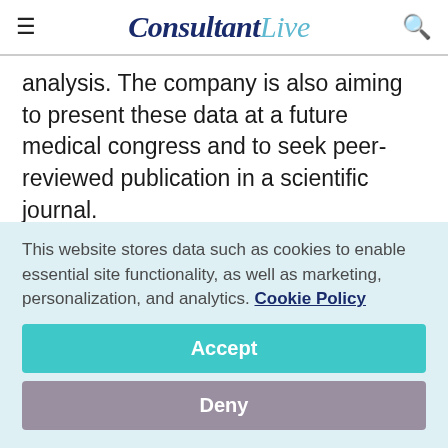ConsultantLive
analysis. The company is also aiming to present these data at a future medical congress and to seek peer-reviewed publication in a scientific journal.
Related Content: Pulmonology | Infectious Disease
CBT Intervention for Insomnia Can Help Oncology Patients...
This website stores data such as cookies to enable essential site functionality, as well as marketing, personalization, and analytics. Cookie Policy
Accept
Deny